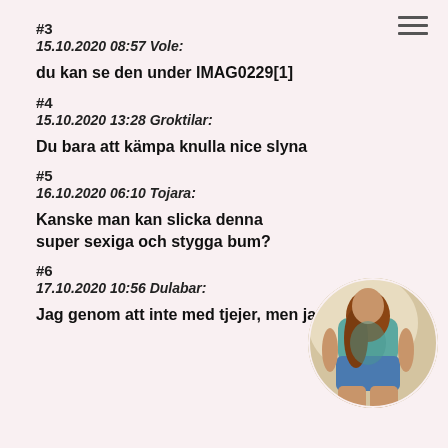#3
15.10.2020 08:57 Vole:
du kan se den under IMAG0229[1]
#4
15.10.2020 13:28 Groktilar:
Du bara att kämpa knulla nice slyna
#5
16.10.2020 06:10 Tojara:
Kanske man kan slicka denna super sexiga och stygga bum?
#6
17.10.2020 10:56 Dulabar:
Jag genom att inte med tjejer, men jag är som
[Figure (photo): Circular cropped photo of a woman from behind wearing a blue top and denim shorts]